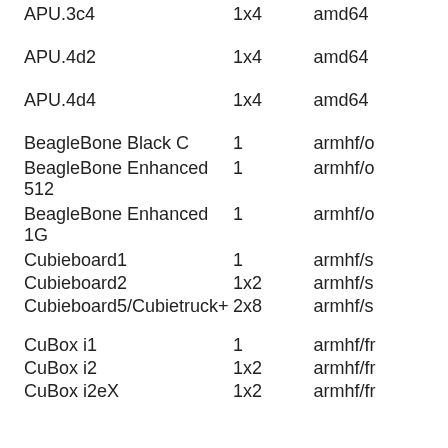|  |  |  |
| --- | --- | --- |
| APU.3c4 | 1x4 | amd64 |
| APU.4d2 | 1x4 | amd64 |
| APU.4d4 | 1x4 | amd64 |
| BeagleBone Black C | 1 | armhf/o |
| BeagleBone Enhanced 512 | 1 | armhf/o |
| BeagleBone Enhanced 1G | 1 | armhf/o |
| Cubieboard1 | 1 | armhf/s |
| Cubieboard2 | 1x2 | armhf/s |
| Cubieboard5/Cubietruck+ | 2x8 | armhf/s |
| CuBox i1 | 1 | armhf/fr |
| CuBox i2 | 1x2 | armhf/fr |
| CuBox i2eX | 1x2 | armhf/fr |